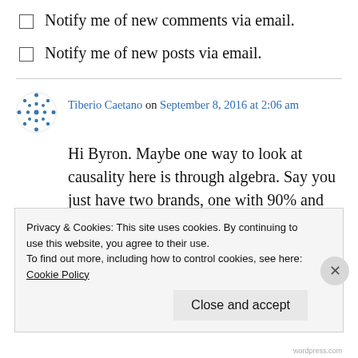Notify me of new comments via email.
Notify me of new posts via email.
Tiberio Caetano on September 8, 2016 at 2:06 am
Hi Byron. Maybe one way to look at causality here is through algebra. Say you just have two brands, one with 90% and another with 10% of market share (for concreteness, two supermarket chains). Assume everyone goes
Privacy & Cookies: This site uses cookies. By continuing to use this website, you agree to their use.
To find out more, including how to control cookies, see here: Cookie Policy
Close and accept